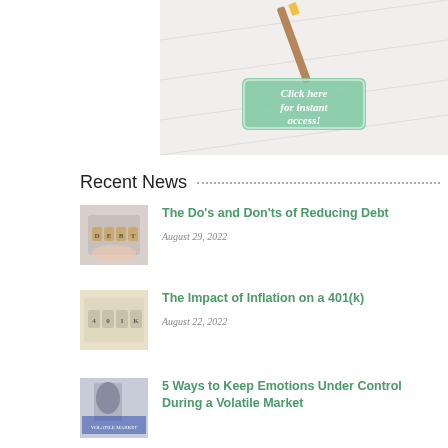[Figure (photo): Promotional image with a calendar/planner and a green button overlay reading 'Click here for instant access!']
Recent News
[Figure (photo): Thumbnail image showing wooden letter tiles spelling DEBT being held by a hand]
The Do's and Don'ts of Reducing Debt
August 29, 2022
[Figure (photo): Thumbnail image showing wooden letter tiles spelling 401K]
The Impact of Inflation on a 401(k)
August 22, 2022
[Figure (photo): Thumbnail image of a person in a suit with text overlay related to emotional control and volatile markets]
5 Ways to Keep Emotions Under Control During a Volatile Market